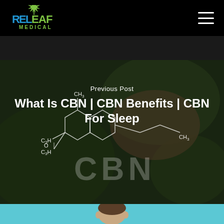[Figure (logo): Releaf Medical logo with cannabis leaf icon, white and green text on black background]
[Figure (photo): Background photo of cannabis plant with CBN chemical structure diagram overlay. Text labels CH3, C3H, O, CBN visible on the molecular diagram.]
Previous Post
What Is CBN | CBN Benefits | CBN For Sleep
[Figure (photo): Bottom strip showing top of a person's head against teal/cyan background]